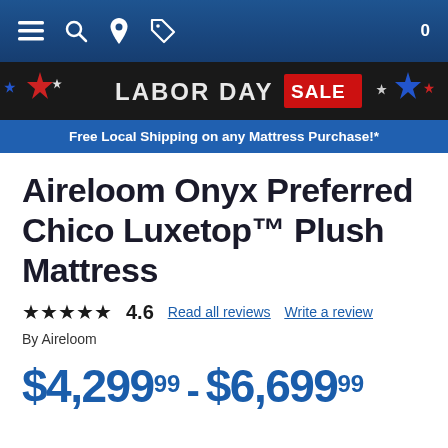Navigation bar with menu, search, location, tag icons and cart (0)
[Figure (infographic): Labor Day Sale banner with stars decorations on dark background]
Free Local Shipping on any Mattress Purchase!*
Aireloom Onyx Preferred Chico Luxetop™ Plush Mattress
★★★★★ 4.6  Read all reviews  Write a review
By Aireloom
$4,29999 - $6,69999